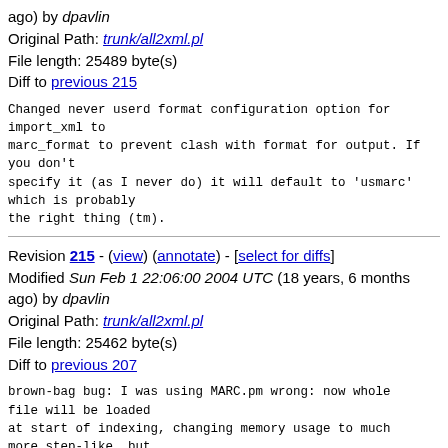ago) by dpavlin
Original Path: trunk/all2xml.pl
File length: 25489 byte(s)
Diff to previous 215
Changed never userd format configuration option for import_xml to
marc_format to prevent clash with format for output. If you don't
specify it (as I never do) it will default to 'usmarc' which is probably
the right thing (tm).
Revision 215 - (view) (annotate) - [select for diffs]
Modified Sun Feb 1 22:06:00 2004 UTC (18 years, 6 months ago) by dpavlin
Original Path: trunk/all2xml.pl
File length: 25462 byte(s)
Diff to previous 207
brown-bag bug: I was using MARC.pm wrong: now whole file will be loaded
at start of indexing, changing memory usage to much more step-like, but
that enables real progress indicator and few seconds gain in indexing
speed.